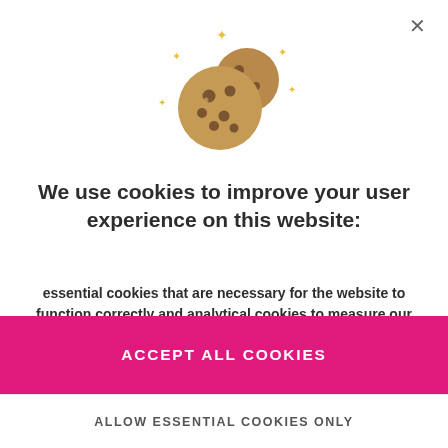[Figure (illustration): Cookie emoji illustration with sparkle/star decorations around it]
We use cookies to improve your user experience on this website:
essential cookies that are necessary for the website to function correctly and analytical cookies to measure our website traffic.
Read more
ACCEPT ALL COOKIES
ALLOW ESSENTIAL COOKIES ONLY